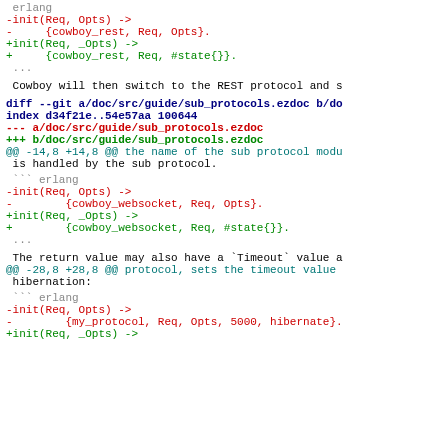erlang
-init(Req, Opts) ->
-     {cowboy_rest, Req, Opts}.
+init(Req, _Opts) ->
+     {cowboy_rest, Req, #state{}}.
Cowboy will then switch to the REST protocol and s
diff --git a/doc/src/guide/sub_protocols.ezdoc b/do
index d34f21e..54e57aa 100644
--- a/doc/src/guide/sub_protocols.ezdoc
+++ b/doc/src/guide/sub_protocols.ezdoc
@@ -14,8 +14,8 @@ the name of the sub protocol modu
 is handled by the sub protocol.
``` erlang
-init(Req, Opts) ->
-        {cowboy_websocket, Req, Opts}.
+init(Req, _Opts) ->
+        {cowboy_websocket, Req, #state{}}.
The return value may also have a `Timeout` value a
@@ -28,8 +28,8 @@ protocol, sets the timeout value
 hibernation:
``` erlang
-init(Req, Opts) ->
-        {my_protocol, Req, Opts, 5000, hibernate}.
+init(Req, _Opts) ->